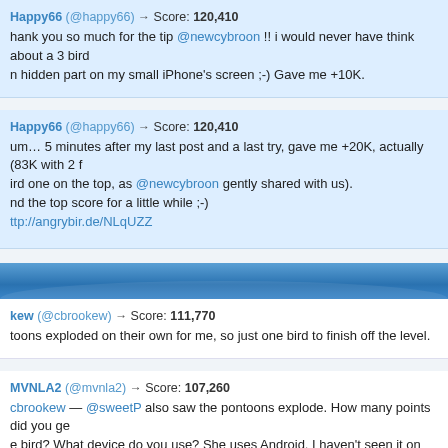Happy66 (@happy66) → Score: 120,410
thank you so much for the tip @newcybroon !! i would never have think about a 3 bird hidden part on my small iPhone's screen ;-) Gave me +10K.
Happy66 (@happy66) → Score: 120,410
um… 5 minutes after my last post and a last try, gave me +20K, actually (83K with 2 f... rd one on the top, as @newcybroon gently shared with us).
nd the top score for a little while ;-)
ttp://angrybir.de/NLqUZZ
kew (@cbrookew) → Score: 111,770
toons exploded on their own for me, so just one bird to finish off the level.
MVNLA2 (@mvnla2) → Score: 107,260
cbrookew — @sweetP also saw the pontoons explode. How many points did you ge... e bird? What device do you use? She uses Android. I haven't seen it on iPad (yet?). B... ore self-destruction, please post in forum on Self-Destroying and Unstable Levels: